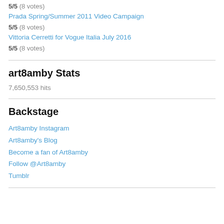5/5 (8 votes)
Prada Spring/Summer 2011 Video Campaign
5/5 (8 votes)
Vittoria Cerretti for Vogue Italia July 2016
5/5 (8 votes)
art8amby Stats
7,650,553 hits
Backstage
Art8amby Instagram
Art8amby's Blog
Become a fan of Art8amby
Follow @Art8amby
Tumblr